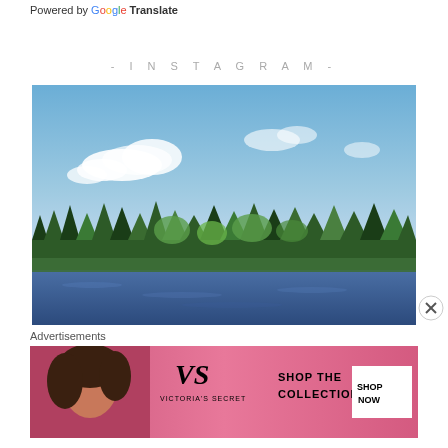Powered by Google Translate
- INSTAGRAM -
[Figure (photo): Outdoor landscape photo showing a lake in the foreground with a treeline of dense pine and deciduous trees in the middle ground, and a blue sky with white clouds above.]
[Figure (other): Close button (X in a circle)]
Advertisements
[Figure (photo): Victoria's Secret advertisement banner with a woman, VS logo, and text 'SHOP THE COLLECTION' with a 'SHOP NOW' button on pink background.]